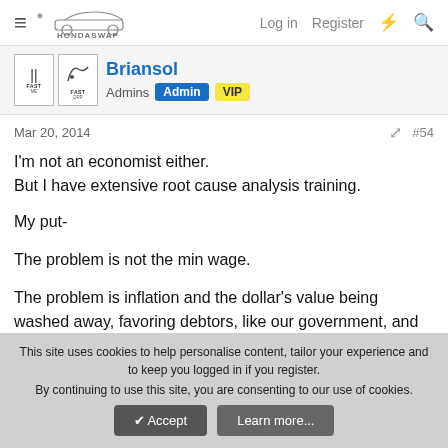HondaSwap — Log in  Register
Briansol
Admins  Admin  VIP
Mar 20, 2014  #54
I'm not an economist either.
But I have extensive root cause analysis training.

My put-

The problem is not the min wage.

The problem is inflation and the dollar's value being washed away, favoring debtors, like our government, and punishing
This site uses cookies to help personalise content, tailor your experience and to keep you logged in if you register.
By continuing to use this site, you are consenting to our use of cookies.